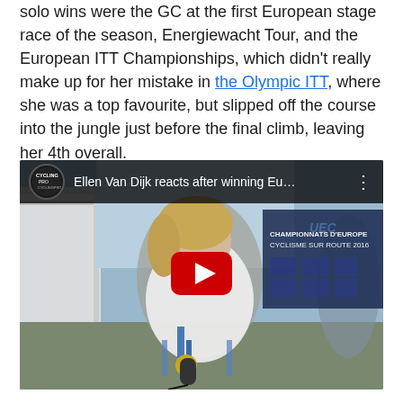solo wins were the GC at the first European stage race of the season, Energiewacht Tour, and the European ITT Championships, which didn't really make up for her mistake in the Olympic ITT, where she was a top favourite, but slipped off the course into the jungle just before the final climb, leaving her 4th overall.
[Figure (screenshot): YouTube video thumbnail showing Ellen Van Dijk being interviewed after winning the European ITT Championships. She is wearing a white jersey with a blue medal. The video title reads 'Ellen Van Dijk reacts after winning Eu...' with a CyclingPro channel icon. A red YouTube play button is centered on the thumbnail. The background shows a championship banner reading 'CHAMPIONNATS D'EUROPE CYCLISME SUR ROUTE 2016'.]